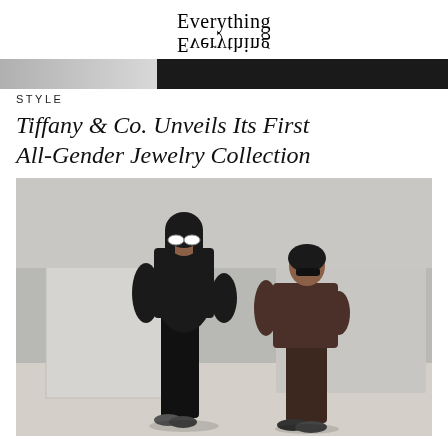Everything Everything
[Figure (photo): Banner strip with gray left panel and dark right panel]
STYLE
Tiffany & Co. Unveils Its First All-Gender Jewelry Collection
[Figure (photo): Two models standing outdoors against large marble/concrete blocks. Left model wears all-black turtleneck and leggings with sneakers and white oval sunglasses. Right model wears dark brown matching set with dark sunglasses and sneakers.]